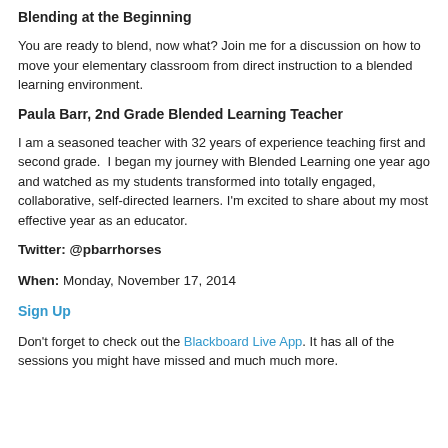Blending at the Beginning
You are ready to blend, now what? Join me for a discussion on how to move your elementary classroom from direct instruction to a blended learning environment.
Paula Barr, 2nd Grade Blended Learning Teacher
I am a seasoned teacher with 32 years of experience teaching first and second grade. I began my journey with Blended Learning one year ago and watched as my students transformed into totally engaged, collaborative, self-directed learners. I'm excited to share about my most effective year as an educator.
Twitter: @pbarrhorses
When: Monday, November 17, 2014
Sign Up
Don't forget to check out the Blackboard Live App. It has all of the sessions you might have missed and much much more.